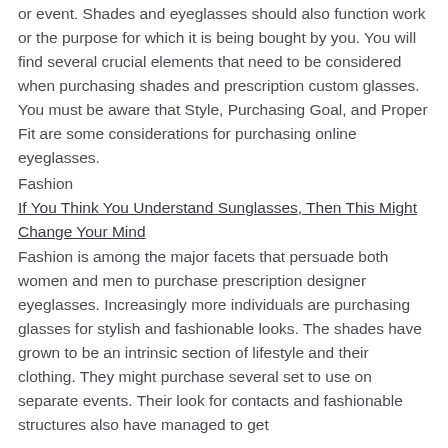or event. Shades and eyeglasses should also function work or the purpose for which it is being bought by you. You will find several crucial elements that need to be considered when purchasing shades and prescription custom glasses. You must be aware that Style, Purchasing Goal, and Proper Fit are some considerations for purchasing online eyeglasses.
Fashion
If You Think You Understand Sunglasses, Then This Might Change Your Mind
Fashion is among the major facets that persuade both women and men to purchase prescription designer eyeglasses. Increasingly more individuals are purchasing glasses for stylish and fashionable looks. The shades have grown to be an intrinsic section of lifestyle and their clothing. They might purchase several set to use on separate events. Their look for contacts and fashionable structures also have managed to get essential for online retailers to create a broad and